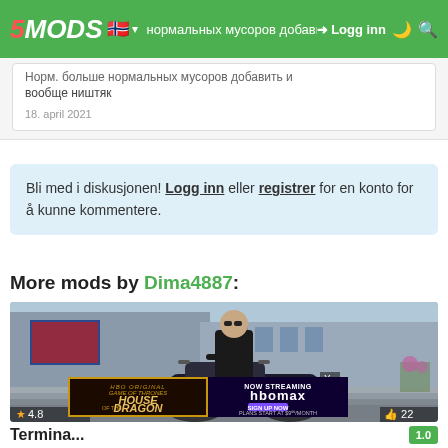5MODS | Норм. | Logg inn
Норм. больше нормальных мусоров добавить и вообще ништяк
18. april 2021
Bli med i diskusjonen! Logg inn eller registrer for en konto for å kunne kommentere.
More mods by Dima4887:
[Figure (screenshot): Screenshot of a Terminator-style character in a GTA mod riding a motorcycle in front of a building. An HBO Max ad overlay appears at the bottom showing House of the Dragon and HBO Max streaming promotion.]
Termina...
4.8
22
1.0